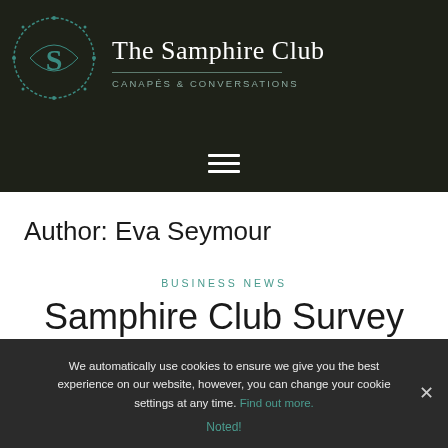[Figure (logo): The Samphire Club logo: teal S letter inside a circular wreath on dark background, with club name and tagline 'CANAPÉS & CONVERSATIONS']
Author: Eva Seymour
BUSINESS NEWS
Samphire Club Survey
We automatically use cookies to ensure we give you the best experience on our website, however, you can change your cookie settings at any time. Find out more.
Noted!